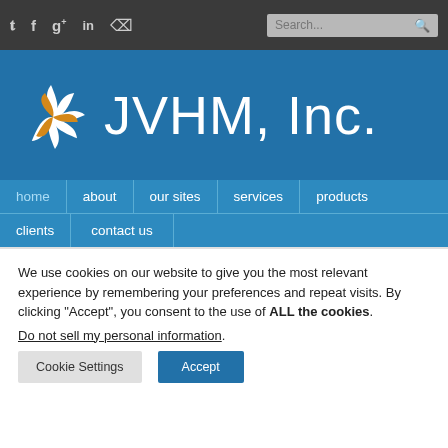[Figure (logo): JVHM Inc. website header with pinwheel logo and social media icons, search bar, and navigation menu]
We use cookies on our website to give you the most relevant experience by remembering your preferences and repeat visits. By clicking “Accept”, you consent to the use of ALL the cookies.
Do not sell my personal information.
Cookie Settings
Accept